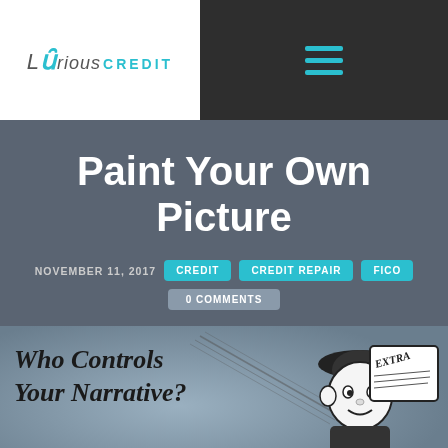[Figure (logo): Luxrious Credit logo with teal X and Credit text]
Paint Your Own Picture
NOVEMBER 11, 2017
CREDIT  CREDIT REPAIR  FICO
0 COMMENTS
[Figure (illustration): Illustration showing 'Who Controls Your Narrative?' text with a retro newsboy holding an EXTRA newspaper]